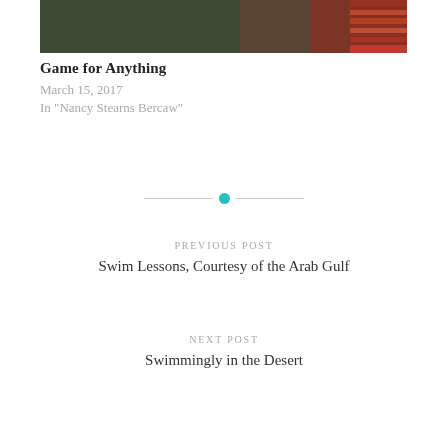[Figure (photo): Top portion of an outdoor photo showing a person in a red and orange striped shirt against a dark green background]
Game for Anything
March 15, 2017
In "Nancy Stearns Bercaw"
[Figure (other): Horizontal divider with teal/cyan dot in the center]
PREVIOUS POST
Swim Lessons, Courtesy of the Arab Gulf
NEXT POST
Swimmingly in the Desert